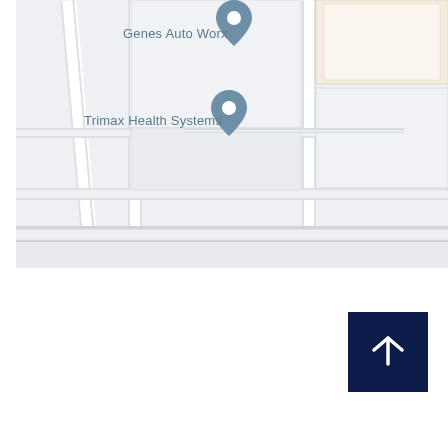[Figure (map): Street map screenshot showing two location pins: 'Genes Auto Worx' and 'Trimax Health Systems', with building footprints and roads rendered in light gray and beige tones.]
[Figure (other): Dark navy blue square button with a white upward-pointing arrow icon, positioned in the lower right area of the page.]